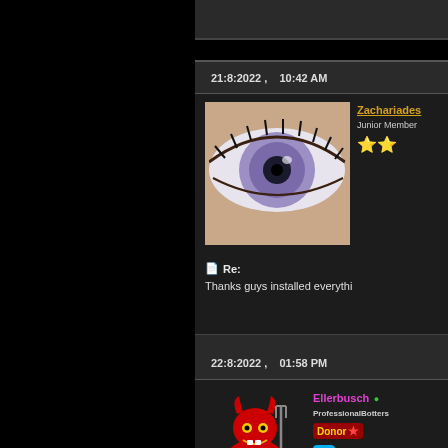21:8:2022 ,   10:42 AM
[Figure (photo): Close-up photo of a purple/violet eye with dark lashes on a light skin tone background. Avatar for user Zachariades.]
Zachariades
Junior Member
★★
📄 Re:
Thanks guys installed everythi
22:8:2022 ,   01:58 PM
[Figure (illustration): Cartoon red devil character holding a pitchfork, sitting on a drum with an @ symbol. Avatar for user Ellerbusch.]
Ellerbusch • ProfessionalBotters Donor ★